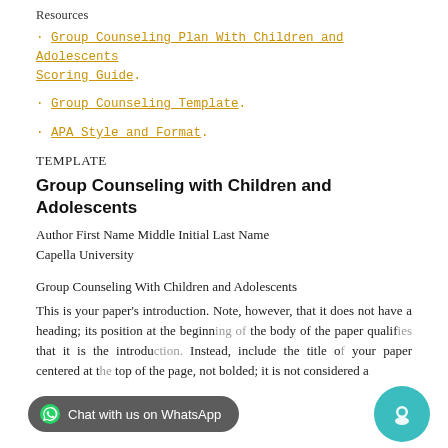Resources
· Group Counseling Plan With Children and Adolescents Scoring Guide.
· Group Counseling Template.
· APA Style and Format.
TEMPLATE
Group Counseling with Children and Adolescents
Author First Name Middle Initial Last Name
Capella University
Group Counseling With Children and Adolescents
This is your paper's introduction. Note, however, that it does not have a heading; its position at the beginning of the body of the paper qualifies that it is the introduction. Instead, include the title of your paper centered at the top of the page, not bolded; it is not considered a